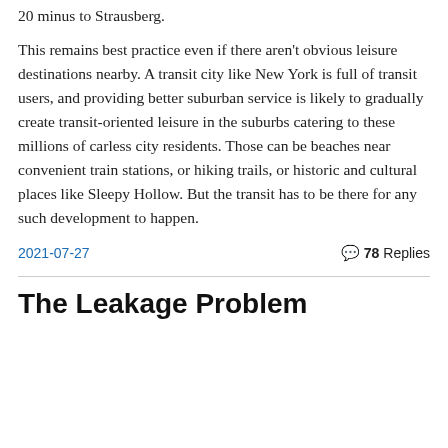20 minus to Strausberg.
This remains best practice even if there aren't obvious leisure destinations nearby. A transit city like New York is full of transit users, and providing better suburban service is likely to gradually create transit-oriented leisure in the suburbs catering to these millions of carless city residents. Those can be beaches near convenient train stations, or hiking trails, or historic and cultural places like Sleepy Hollow. But the transit has to be there for any such development to happen.
2021-07-27
💬 78 Replies
The Leakage Problem